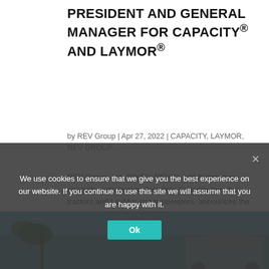PRESIDENT AND GENERAL MANAGER FOR CAPACITY® AND LAYMOR®
by REV Group | Apr 27, 2022 | CAPACITY, LAYMOR, REV GROUP
REV Group, Inc. (NYSE: REVG), which includes specialty vehicle manufacturers Capacity terminal tractors and LayMor street sweepers, announces the appointment of Joe Garton as Vice President and General Manager, Specialty Division. This role oversees the Capacity of…
[Figure (photo): Outdoor photo partially visible, showing palm trees and a vehicle, obscured by cookie consent banner]
We use cookies to ensure that we give you the best experience on our website. If you continue to use this site we will assume that you are happy with it.